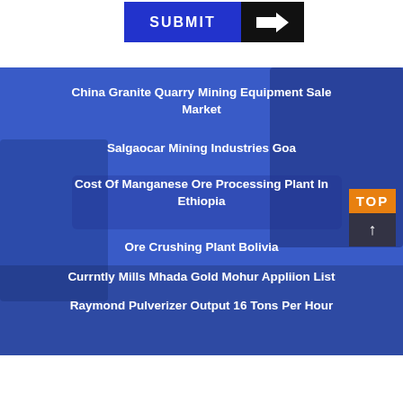[Figure (other): Submit button with blue panel labeled SUBMIT and black panel with right arrow icon]
[Figure (photo): Blue-overlay photo of mining/ore crushing equipment with conveyor belts and machinery]
China Granite Quarry Mining Equipment Sale Market
Salgaocar Mining Industries Goa
Cost Of Manganese Ore Processing Plant In Ethiopia
Ore Crushing Plant Bolivia
Currntly Mills Mhada Gold Mohur Appliion List
Raymond Pulverizer Output 16 Tons Per Hour